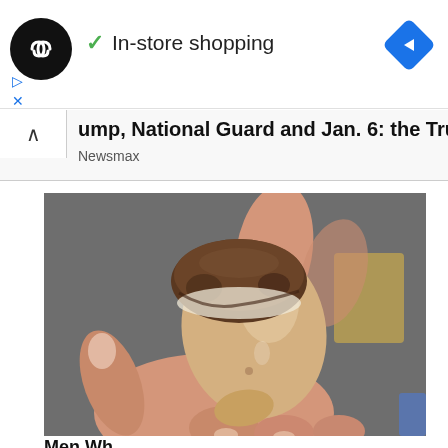[Figure (logo): Black circular logo with infinity/loop symbol, ad banner for in-store shopping with blue navigation arrow button on right]
✓ In-store shopping
▷
X
^ ump, National Guard and Jan. 6: the Truth
Newsmax
[Figure (photo): Close-up photo of a hand holding an acorn with its cap partially removed, revealing the smooth pale nut underneath. Background shows grey pavement and a wooden object.]